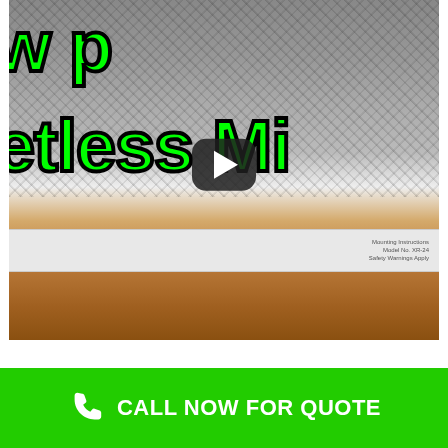[Figure (screenshot): Video thumbnail showing a bicycle chain/cassette mechanism on a wooden surface. Large bright green text with black outline overlays the image reading partial words 'w p', 'tless Mi' (likely 'How to' / 'Spotless Mini' or similar). A YouTube-style play button is visible in the center of the image.]
CALL NOW FOR QUOTE